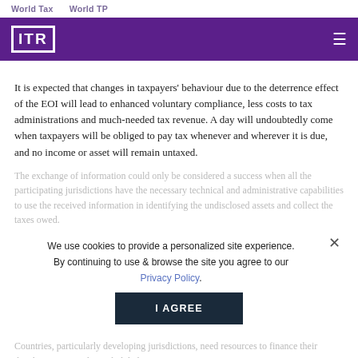World Tax    World TP
[Figure (logo): ITR logo in white on purple background with hamburger menu icon]
It is expected that changes in taxpayers' behaviour due to the deterrence effect of the EOI will lead to enhanced voluntary compliance, less costs to tax administrations and much-needed tax revenue. A day will undoubtedly come when taxpayers will be obliged to pay tax whenever and wherever it is due, and no income or asset will remain untaxed.
The exchange of information could only be considered a success when all the participating jurisdictions have the necessary technical and administrative capabilities to use the received information in identifying the undisclosed assets and collect the taxes owed.
We use cookies to provide a personalized site experience. By continuing to use & browse the site you agree to our Privacy Policy.
I AGREE
Countries, particularly developing jurisdictions, need resources to finance their development agendas and global